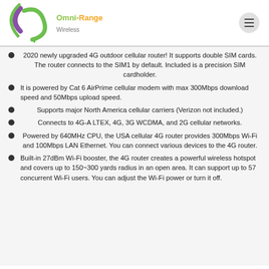[Figure (logo): Omni-Range Wireless logo with green and purple arc graphic and text]
2020 newly upgraded 4G outdoor cellular router! It supports double SIM cards. The router connects to the SIM1 by default. Included is a precision SIM cardholder.
It is powered by Cat 6 AirPrime cellular modem with max 300Mbps download speed and 50Mbps upload speed.
Supports major North America cellular carriers (Verizon not included.)
Connects to 4G-A LTEX, 4G, 3G WCDMA, and 2G cellular networks.
Powered by 640MHz CPU, the USA cellular 4G router provides 300Mbps Wi-Fi and 100Mbps LAN Ethernet. You can connect various devices to the 4G router.
Built-in 27dBm Wi-Fi booster, the 4G router creates a powerful wireless hotspot and covers up to 150~300 yards radius in an open area. It can support up to 57 concurrent Wi-Fi users. You can adjust the Wi-Fi power or turn it off.